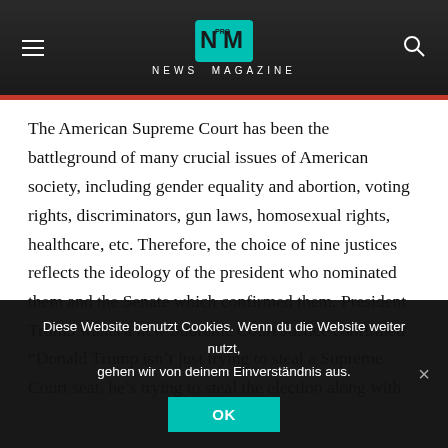NEWS MAGAZINE
The American Supreme Court has been the battleground of many crucial issues of American society, including gender equality and abortion, voting rights, discriminators, gun laws, homosexual rights, healthcare, etc. Therefore, the choice of nine justices reflects the ideology of the president who nominated them and the Senate which confirmed them. President Trump wants a new Supreme Court Justice confirmed before the election to be able to break potential ties on the court over election litigation.
“Donald Trump isn’t just trying to steal a Supreme Court seat, he’s trying to steal the election along with it,” said executive director
Diese Website benutzt Cookies. Wenn du die Website weiter nutzt, gehen wir von deinem Einverständnis aus.